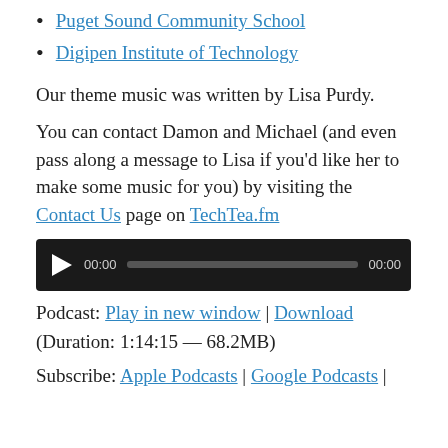Puget Sound Community School
Digipen Institute of Technology
Our theme music was written by Lisa Purdy.
You can contact Damon and Michael (and even pass along a message to Lisa if you’d like her to make some music for you) by visiting the Contact Us page on TechTea.fm
[Figure (other): Audio player widget with play button, time display showing 00:00, progress bar, and duration 00:00]
Podcast: Play in new window | Download
(Duration: 1:14:15 — 68.2MB)
Subscribe: Apple Podcasts | Google Podcasts |